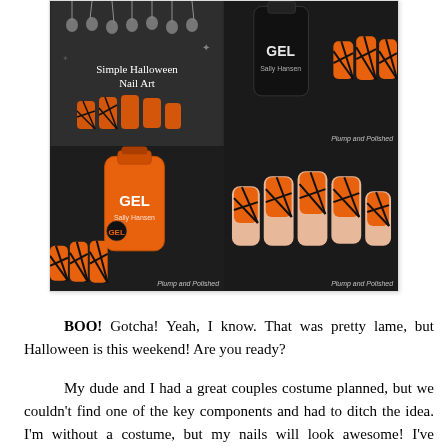[Figure (photo): Collage of four images showing Halloween nail art: top-left is a dark tile with skull decorations and text 'Simple Halloween Nail Art', top-right shows a black nail polish bottle with orange patterned nails, bottom-left shows an orange nail polish bottle with black fishnet nails, bottom-right shows a close-up of orange nails with black net pattern. Watermarks read 'Plump and Polished'.]
BOO! Gotcha! Yeah, I know. That was pretty lame, but Halloween is this weekend! Are you ready?
My dude and I had a great couples costume planned, but we couldn't find one of the key components and had to ditch the idea. I'm without a costume, but my nails will look awesome! I've reviewed a few of the Sally Hansen Miracle Gel polishes before, but hadn't tried nail art. Keep on reading